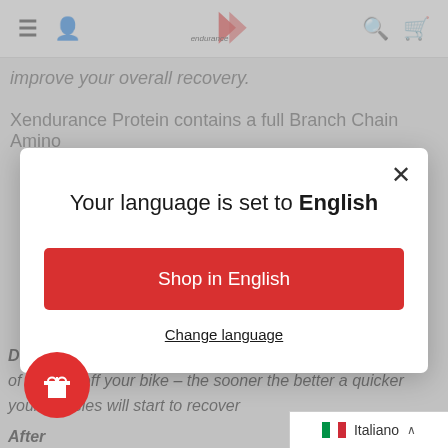Xendurance navigation bar with hamburger, user, logo, search, cart icons
improve your overall recovery.
Xendurance Protein contains a full Branch Chain Amino
[Figure (screenshot): Language selection modal dialog with title 'Your language is set to English', a red 'Shop in English' button, and a 'Change language' link with a close (X) button in the top right corner]
During – after every stage of your event, ideally with 30 m of coming off your bike – the sooner the better a quicker your muscles will start to recover
After
Italiano